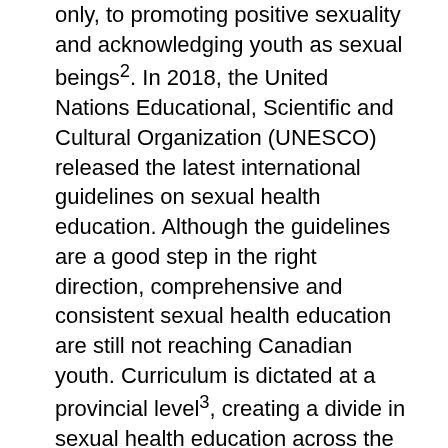only, to promoting positive sexuality and acknowledging youth as sexual beings2. In 2018, the United Nations Educational, Scientific and Cultural Organization (UNESCO) released the latest international guidelines on sexual health education. Although the guidelines are a good step in the right direction, comprehensive and consistent sexual health education are still not reaching Canadian youth. Curriculum is dictated at a provincial level3, creating a divide in sexual health education across the country. Inconsistent sexual health education, lacking both comprehension and timing, may be putting youth more at risk. While one third of Canadian youth have had sexual intercourse before the age of 174, there is still a significant gap in youth's knowledge of sexual health, including misconceptions surrounding STI's and birth control use. Younger age groups also have an increasing prevalence of STI's, especially